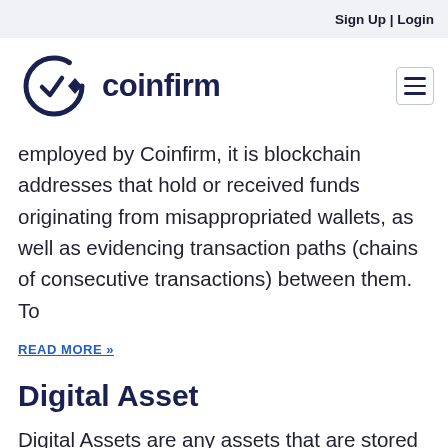Sign Up | Login
[Figure (logo): Coinfirm logo: circular C with checkmark and diamond shapes, beside the text 'coinfirm' in dark navy bold sans-serif]
employed by Coinfirm, it is blockchain addresses that hold or received funds originating from misappropriated wallets, as well as evidencing transaction paths (chains of consecutive transactions) between them. To
READ MORE »
Digital Asset
Digital Assets are any assets that are stored digitally. This could mean photos, videos, files containing